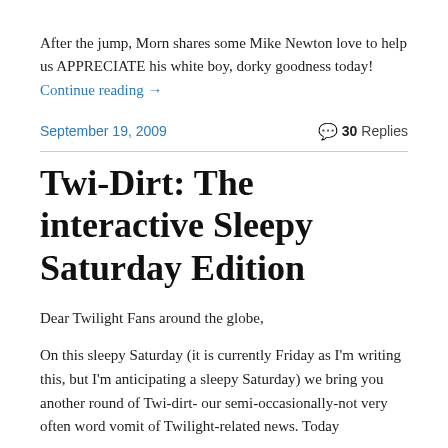After the jump, Morn shares some Mike Newton love to help us APPRECIATE his white boy, dorky goodness today! Continue reading →
September 19, 2009   💬 30 Replies
Twi-Dirt: The interactive Sleepy Saturday Edition
Dear Twilight Fans around the globe,
On this sleepy Saturday (it is currently Friday as I'm writing this, but I'm anticipating a sleepy Saturday) we bring you another round of Twi-dirt- our semi-occasionally-not very often word vomit of Twilight-related news. Today